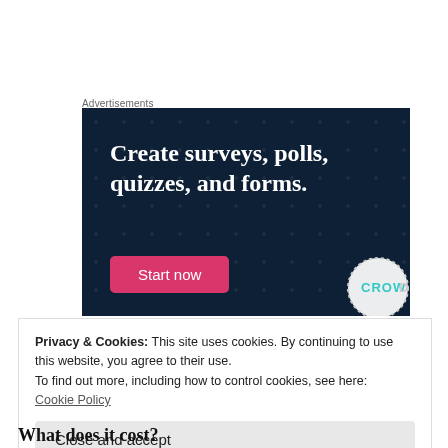Advertisements
[Figure (illustration): Advertisement banner with dark navy background and dot pattern. Text reads 'Create surveys, polls, quizzes, and forms.' with a pink 'Start now' button and CROWD logo in bottom right corner.]
Privacy & Cookies: This site uses cookies. By continuing to use this website, you agree to their use.
To find out more, including how to control cookies, see here:
Cookie Policy
Close and accept
What does it cost?